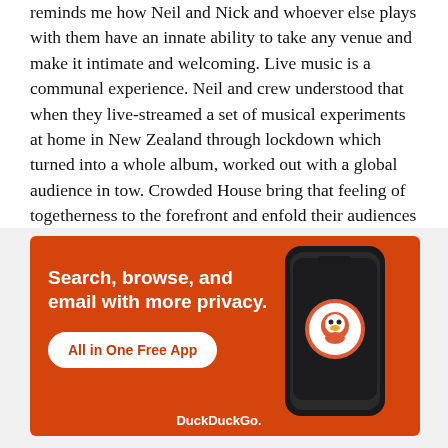reminds me how Neil and Nick and whoever else plays with them have an innate ability to take any venue and make it intimate and welcoming. Live music is a communal experience. Neil and crew understood that when they live-streamed a set of musical experiments at home in New Zealand through lockdown which turned into a whole album, worked out with a global audience in tow. Crowded House bring that feeling of togetherness to the forefront and enfold their audiences in a big, fat hug. Lean in. Let it go. It's ok to cry if you want.
In a strange and frankly still unsettling world, this was the moment we needed, the place to be, the songs to sing. To quote from the song: It's only natural that I
Advertisements
[Figure (other): DuckDuckGo advertisement banner on orange background. Text: 'Search, browse, and email with more privacy.' with 'All in One Free App' call-to-action button and a phone mockup showing the DuckDuckGo app icon.]